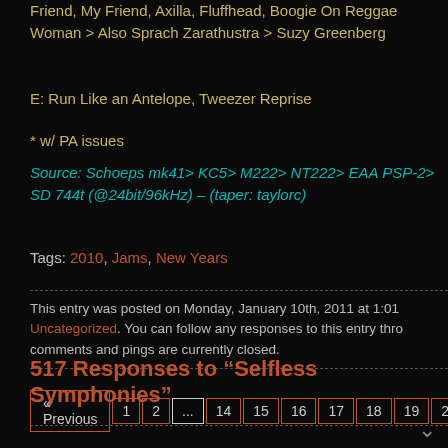Friend, My Friend, Axilla, Fluffhead, Boogie On Reggae Woman > Also Sprach Zarathustra > Suzy Greenberg
E: Run Like an Antelope, Tweezer Reprise
* w/ PA issues
Source: Schoeps mk41> KC5> M222> NT222> EAA PSP-2> SD 744t (@24bit/96kHz) – (taper: taylorc)
Tags: 2010, Jams, New Years
This entry was posted on Monday, January 10th, 2011 at 1:01 Uncategorized. You can follow any responses to this entry thro comments and pings are currently closed.
517 Responses to “Selfless Symphonies”
« Previous  1  2  ...  14  15  16  17  18  19  20